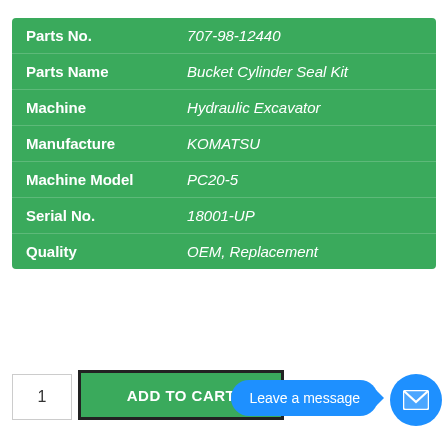| Field | Value |
| --- | --- |
| Parts No. | 707-98-12440 |
| Parts Name | Bucket Cylinder Seal Kit |
| Machine | Hydraulic Excavator |
| Manufacture | KOMATSU |
| Machine Model | PC20-5 |
| Serial No. | 18001-UP |
| Quality | OEM, Replacement |